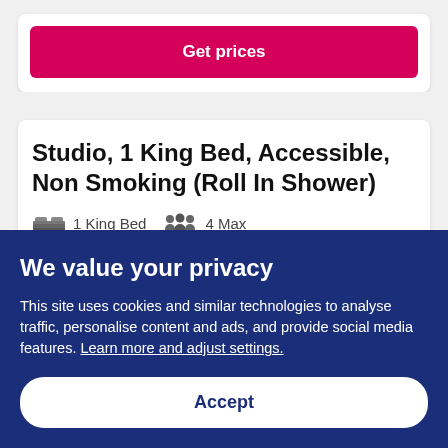[Figure (screenshot): Pink 'Get prices' button on a hotel booking website]
Studio, 1 King Bed, Accessible, Non Smoking (Roll In Shower)
1 King Bed   4 Max
We value your privacy
This site uses cookies and similar technologies to analyse traffic, personalise content and ads, and provide social media features. Learn more and adjust settings.
Accept